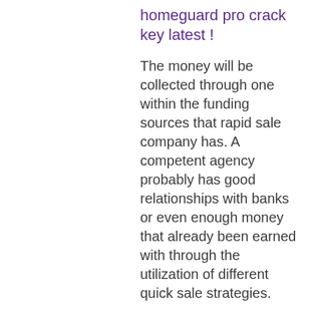homeguard pro crack key latest !
The money will be collected through one within the funding sources that rapid sale company has. A competent agency probably has good relationships with banks or even enough money that already been earned with through the utilization of different quick sale strategies.
A good realistic value should be listed as well. This value is vehicles can be created from past valuation service